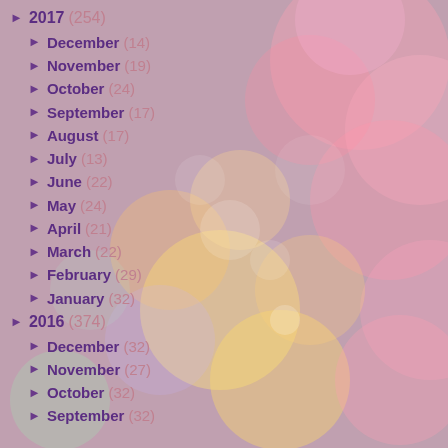2017 (254)
December (14)
November (19)
October (24)
September (17)
August (17)
July (13)
June (22)
May (24)
April (21)
March (22)
February (29)
January (32)
2016 (374)
December (32)
November (27)
October (32)
September (32)